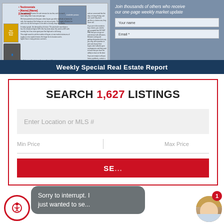[Figure (screenshot): Newsletter signup section showing a weekly special real estate report preview with form fields for name and email]
Weekly Special Real Estate Report
SEARCH 1,627 LISTINGS
Enter Location or MLS #
Min Price
Max Price
SE...
Sorry to interrupt. I just wanted to se...